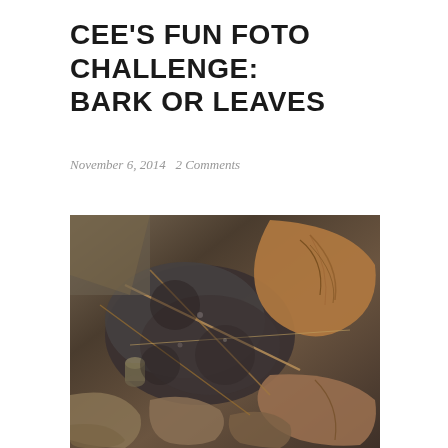CEE'S FUN FOTO CHALLENGE: BARK OR LEAVES
November 6, 2014   2 Comments
[Figure (photo): Close-up photograph of dried autumn leaves and bark pieces on the ground, showing various shades of brown, gray, and tan with twigs and stems scattered throughout.]